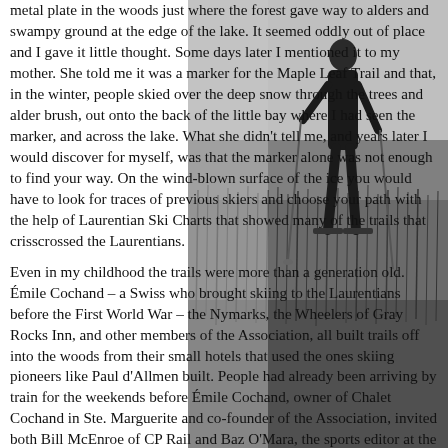[Figure (photo): Black and white photograph of a person standing outdoors in winter, holding ski poles, with reeds or tall grass visible in the background near a lake or marshy area.]
metal plate in the woods just where the forest gave way to alders and swampy ground at the edge of the lake. It seemed oddly out of place and I gave it little thought. Some days later I mentioned it to my mother. She told me it was a marker for the Maple Leaf Trail and that, in the winter, people skied over the deep snow through the trees and alder brush, out onto the back of the little bay where I had seen the marker, and across the lake. What she didn't tell me, and years later I would discover for myself, was that the marker alone was not enough to find your way. On the wind-blown surface of the ice you would have to look for traces of previous skiers and choose your path with the help of Laurentian Ski Charts that showed many of the trails that crisscrossed the Laurentians.

Even in my childhood the trails were more than a generation old. Émile Cochand – a Swiss who brought skiing to the Laurentians before the First World War – the Nymarks, the Wheelers of Gray Rocks Inn, and other members of the Association, all built trails off into the woods from their small hotels that used the ones skiing pioneers like Paul d'Allmen built. People had already been arriving by train for the weekends before Émile Cochand, owner of Chalet Cochand in Ste. Marguerite and co-founder of the Association, invited both Bill McEnroe of CP Rail and Baz O'Mara, the sports editor at the Montreal Star, to come to Chalet Cochand in the mid-1920s. He hoped to convince them that resorts could fill the train with skiers. He succeeded, and the first ski train was inaugurated in the winter of 1926-27.